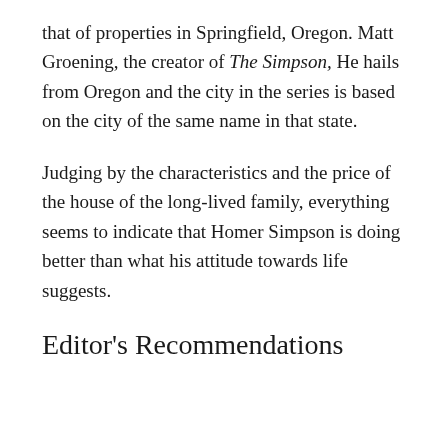that of properties in Springfield, Oregon. Matt Groening, the creator of The Simpson, He hails from Oregon and the city in the series is based on the city of the same name in that state.
Judging by the characteristics and the price of the house of the long-lived family, everything seems to indicate that Homer Simpson is doing better than what his attitude towards life suggests.
Editor's Recommendations